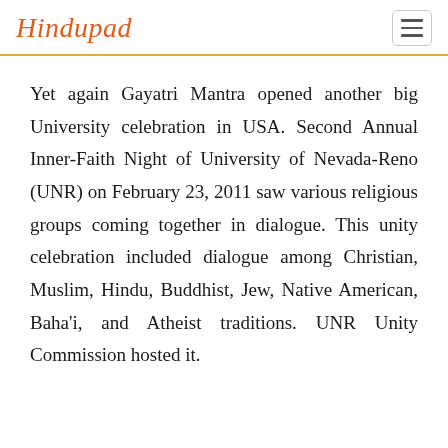Hindupad
Yet again Gayatri Mantra opened another big University celebration in USA. Second Annual Inner-Faith Night of University of Nevada-Reno (UNR) on February 23, 2011 saw various religious groups coming together in dialogue. This unity celebration included dialogue among Christian, Muslim, Hindu, Buddhist, Jew, Native American, Baha'i, and Atheist traditions. UNR Unity Commission hosted it.